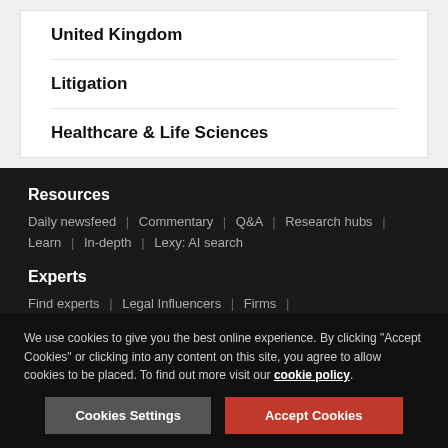United Kingdom
Litigation
Healthcare & Life Sciences
Resources
Daily newsfeed | Commentary | Q&A | Research hubs | Learn | In-depth | Lexy: AI search
Experts
Find experts | Legal Influencers | Firms | About Instruct Counsel
We use cookies to give you the best online experience. By clicking "Accept Cookies" or clicking into any content on this site, you agree to allow cookies to be placed. To find out more visit our cookie policy.
Cookies Settings | Accept Cookies